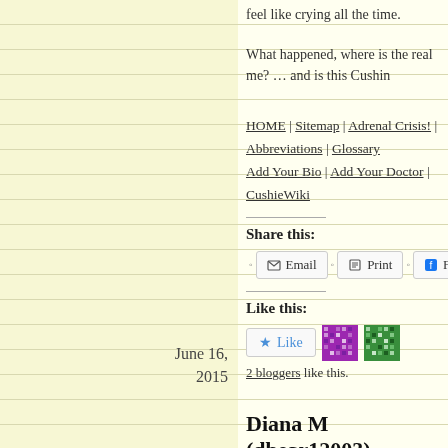feel like crying all the time.
What happened, where is the real me? … and is this Cushine
HOME | Sitemap | Adrenal Crisis! | Abbreviations | Glossary | Add Your Bio | Add Your Doctor | CushieWiki
Share this:
Email  Print  Facebook  Twit
Like this:
Like  [avatar1] [avatar2]
2 bloggers like this.
June 16, 2015
Diana M (dbear12003), Adrenal B
MaryO   Adrenal, Other Diagnosis, Thyroid, Undiagnos... Adrenal tumor, alkaline phosphatase, B12 deficiency, cortisol, disease, flank pain, hematologist, intermittent migrain...